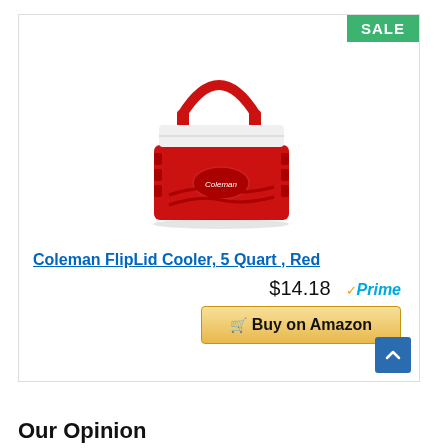[Figure (photo): Red Coleman FlipLid 5-Quart cooler with white lid and red carry handle]
Coleman FlipLid Cooler, 5 Quart , Red
$14.18 ✓Prime
Buy on Amazon
Our Opinion